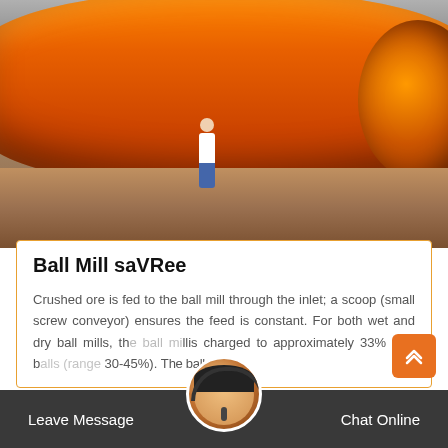[Figure (photo): Large orange ball mill industrial grinding machine with a person standing next to it for scale, photographed in an industrial facility]
Ball Mill saVRee
Crushed ore is fed to the ball mill through the inlet; a scoop (small screw conveyor) ensures the feed is constant. For both wet and dry ball mills, the ball mill is charged to approximately 33% with balls (range 30-45%). The balls are...